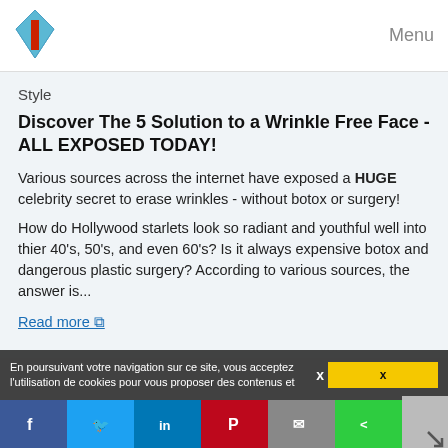Menu
Style
Discover The 5 Solution to a Wrinkle Free Face - ALL EXPOSED TODAY!
Various sources across the internet have exposed a HUGE celebrity secret to erase wrinkles - without botox or surgery!
How do Hollywood starlets look so radiant and youthful well into thier 40's, 50's, and even 60's? Is it always expensive botox and dangerous plastic surgery? According to various sources, the answer is...
Read more
Website: http://ageingloan.com
Related topics : hyaluronic acid anti aging cream / anti aging wrinkle cream ingredients / anti aging skin cream ingredients / best anti aging eye cream products / anti aging wrinkle cream that
En poursuivant votre navigation sur ce site, vous acceptez l'utilisation de cookies pour vous proposer des contenus et